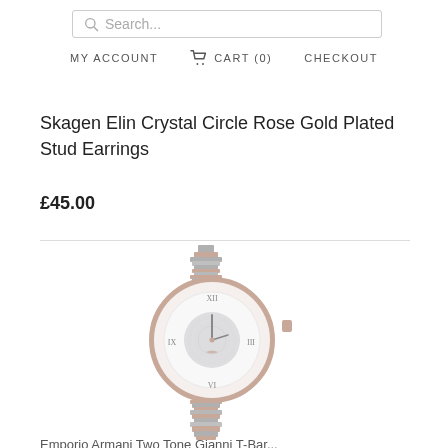Search...
MY ACCOUNT   CART (0)   CHECKOUT
Skagen Elin Crystal Circle Rose Gold Plated Stud Earrings
£45.00
[Figure (photo): A ladies' rose gold and silver two-tone bracelet watch with a crystal-encrusted dial, roman numeral hour markers, and a metal link bracelet. The watch appears to be an Emporio Armani model.]
Emporio Armani Two Tone Gianni T-Bar...